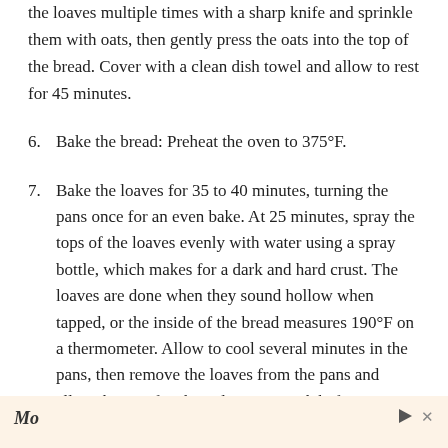the loaves multiple times with a sharp knife and sprinkle them with oats, then gently press the oats into the top of the bread. Cover with a clean dish towel and allow to rest for 45 minutes.
6. Bake the bread: Preheat the oven to 375°F.
7. Bake the loaves for 35 to 40 minutes, turning the pans once for an even bake. At 25 minutes, spray the tops of the loaves evenly with water using a spray bottle, which makes for a dark and hard crust. The loaves are done when they sound hollow when tapped, or the inside of the bread measures 190°F on a thermometer. Allow to cool several minutes in the pans, then remove the loaves from the pans and allow them to finish cooling on a rack before eating, at least 30 minutes.